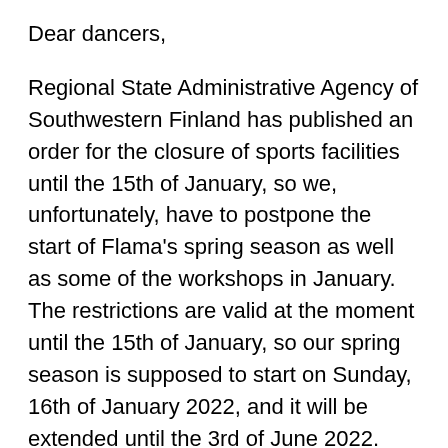Dear dancers,
Regional State Administrative Agency of Southwestern Finland has published an order for the closure of sports facilities until the 15th of January, so we, unfortunately, have to postpone the start of Flama's spring season as well as some of the workshops in January. The restrictions are valid at the moment until the 15th of January, so our spring season is supposed to start on Sunday, 16th of January 2022, and it will be extended until the 3rd of June 2022.
We will inform participants of all courses and workshops about these changes and replacement course dates by email. We have over 90 classes per week, so the information will not be available for